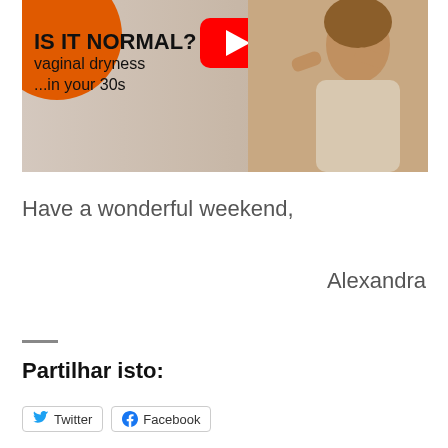[Figure (photo): Thumbnail image with text 'IS IT NORMAL? vaginal dryness ...in your 30s', YouTube play button in red, orange circle graphic top-left, photo of woman with hands on head on the right]
Have a wonderful weekend,
Alexandra
Partilhar isto:
Twitter  Facebook